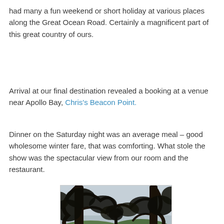had many a fun weekend or short holiday at various places along the Great Ocean Road. Certainly a magnificent part of this great country of ours.
Arrival at our final destination revealed a booking at a venue near Apollo Bay, Chris's Beacon Point.
Dinner on the Saturday night was an average meal – good wholesome winter fare, that was comforting. What stole the show was the spectacular view from our room and the restaurant.
[Figure (photo): Outdoor landscape photo showing tall eucalyptus trees in silhouette against an overcast sky, with rolling green hills and a valley in the background. The image has a dark, moody quality with deep shadows in the foreground trees.]